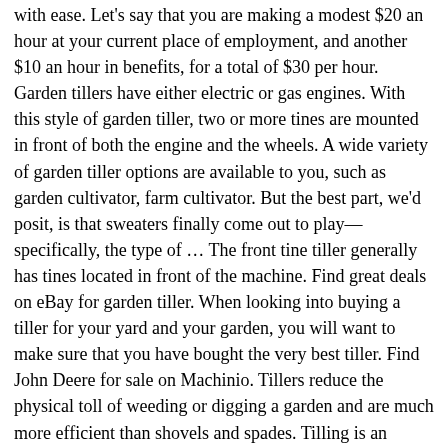with ease. Let's say that you are making a modest $20 an hour at your current place of employment, and another $10 an hour in benefits, for a total of $30 per hour. Garden tillers have either electric or gas engines. With this style of garden tiller, two or more tines are mounted in front of both the engine and the wheels. A wide variety of garden tiller options are available to you, such as garden cultivator, farm cultivator. But the best part, we'd posit, is that sweaters finally come out to play—specifically, the type of … The front tine tiller generally has tines located in front of the machine. Find great deals on eBay for garden tiller. When looking into buying a tiller for your yard and your garden, you will want to make sure that you have bought the very best tiller. Find John Deere for sale on Machinio. Tillers reduce the physical toll of weeding or digging a garden and are much more efficient than shovels and spades. Tilling is an important process that helps to loosen up the soil before you start planting for the next season. If you're working in the garden, on your lawn or doing any job that requires you to turn over soil, a tiller can save you time and effort. works perfectly could use a p. Garden tiller - 382 results from brands Sun Joe, Snow Joe, Troy Bilt, products like Raymarine ST2000 Plus Tiller Pilot AutoPilot ST2000+ A12005, Mantis Garden Tiller Cultivator Mini Roto 4 cycle Honda, Southland SCV43 Cultivator with 43cc, 2 Cycle, Full Crankshaft Engine, Power Tillers & CultivatorsThe Garden Tiller will soon become a favorite among your gardening tools. Troy-Bilt parts online. Here